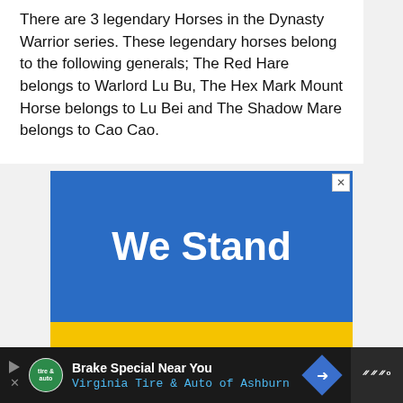There are 3 legendary Horses in the Dynasty Warrior series. These legendary horses belong to the following generals; The Red Hare belongs to Warlord Lu Bu, The Hex Mark Mount Horse belongs to Lu Bei and The Shadow Mare belongs to Cao Cao.
[Figure (other): Advertisement banner with Ukrainian flag colors. Top half is blue with white bold text 'We Stand', bottom half is yellow with black bold text 'With You'. Close button (X) in top right corner.]
[Figure (other): Bottom navigation/ad bar on dark background. Left side shows play button and X icon, circular green logo for 'tire & auto', text 'Brake Special Near You' in white and 'Virginia Tire & Auto of Ashburn' in blue, blue diamond navigation arrow. Right side shows Tidal logo area on slightly lighter dark background.]